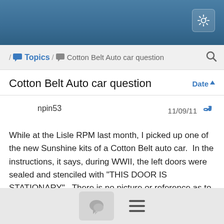[Figure (screenshot): Blue gradient top navigation bar with a gear/settings icon button in the top right corner]
/ Topics / Cotton Belt Auto car question
Cotton Belt Auto car question
npin53   11/09/11
While at the Lisle RPM last month, I picked up one of the new Sunshine kits of a Cotton Belt auto car.  In the instructions, it says, during WWII, the left doors were sealed and stenciled with "THIS DOOR IS STATIONARY".  There is no picture or reference as to where on the left door this was put.

Would anyone have any idea as to the placement of this information?
Chat and menu icons